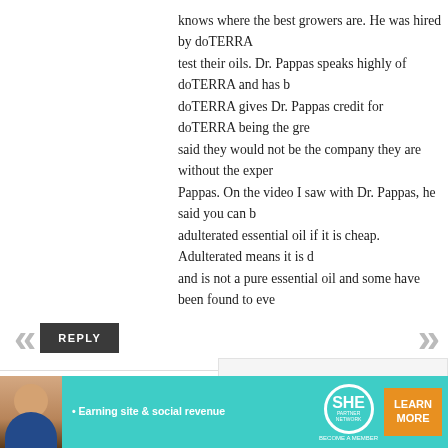knows where the best growers are. He was hired by doTERRA to test their oils. Dr. Pappas speaks highly of doTERRA and has b... doTERRA gives Dr. Pappas credit for doTERRA being the gre... said they would not be the company they are without the exper... Pappas. On the video I saw with Dr. Pappas, he said you can b... adulterated essential oil if it is cheap. Adulterated means it is d... and is not a pure essential oil and some have been found to eve... causing ingredients) in them. . Therefore, I implore you to plea... that you are using only pure oils. Otherwise, they can be dange...
REPLY
Jennifer Salemo says:
September 20, 2016 at 5:41 pm
OMG! Love you!
[Figure (infographic): Advertisement banner for SHE Partner Network - Earning site & social revenue. Shows a woman, SHE logo, and a Learn More button in teal/orange colors.]